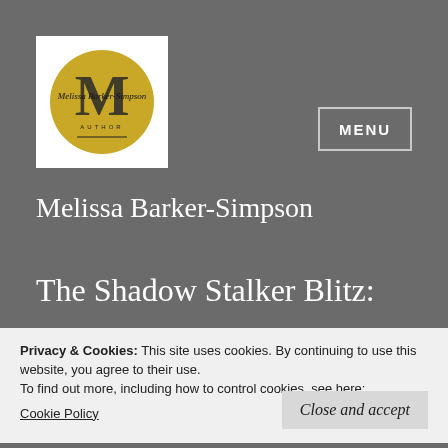[Figure (logo): Circular yellow logo with large M letterform and cursive text 'Melissa Barker-Simpson Author' inside]
MENU
Melissa Barker-Simpson
The Shadow Stalker Blitz:
Privacy & Cookies: This site uses cookies. By continuing to use this website, you agree to their use.
To find out more, including how to control cookies, see here:
Cookie Policy
Close and accept